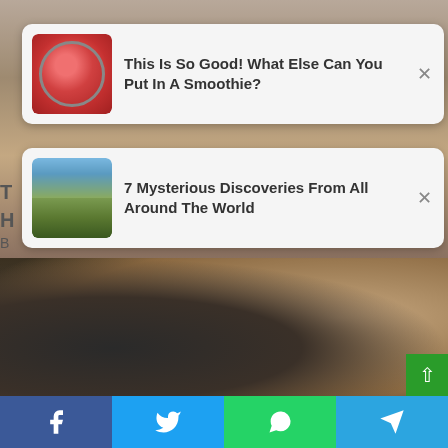[Figure (screenshot): Background image of person with red/brown tones at top of page]
[Figure (infographic): Notification card with smoothie thumbnail: 'This Is So Good! What Else Can You Put In A Smoothie?']
[Figure (infographic): Notification card with archaeological discovery thumbnail: '7 Mysterious Discoveries From All Around The World']
[Figure (photo): Photo of a couple facing each other closely, man in dark suit on left, woman with brown hair on right]
[Figure (screenshot): Social share bar with Facebook, Twitter, WhatsApp, and Telegram buttons]